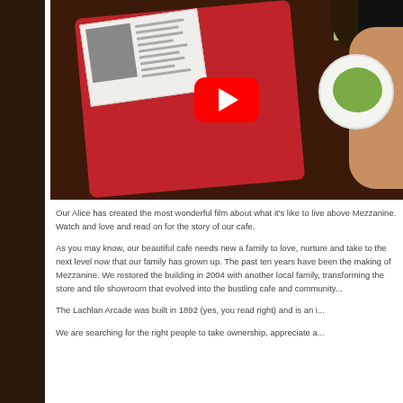[Figure (photo): Overhead/bird's-eye view photo of a cafe scene: a red patterned tablecloth with a newspaper, a green drink, a white plate with food, and a person's arm visible. A YouTube play button overlay is centered on the image.]
Our Alice has created the most wonderful film about what it's like to live above Mezzanine. Watch and love and read on for the story of our cafe.
As you may know, our beautiful cafe needs new a family to love, nurture and take to the next level now that our family has grown up. The past ten years have been the making of Mezzanine. We restored the building in 2004 with another local family, transforming the store and tile showroom that evolved into the bustling cafe and comm...
The Lachlan Arcade was built in 1892 (yes, you read right) and is an i...
We are searching for the right people to take ownership, appreciate a...